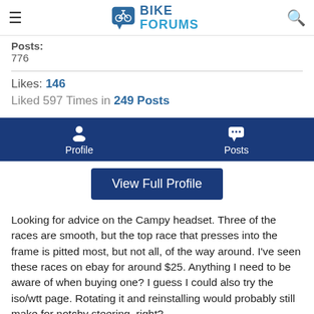Bike Forums
Posts:
776
Likes: 146
Liked 597 Times in 249 Posts
Profile   Posts
View Full Profile
Looking for advice on the Campy headset. Three of the races are smooth, but the top race that presses into the frame is pitted most, but not all, of the way around. I’ve seen these races on ebay for around $25. Anything I need to be aware of when buying one? I guess I could also try the iso/wtt page. Rotating it and reinstalling would probably still make for notchy steering, right?